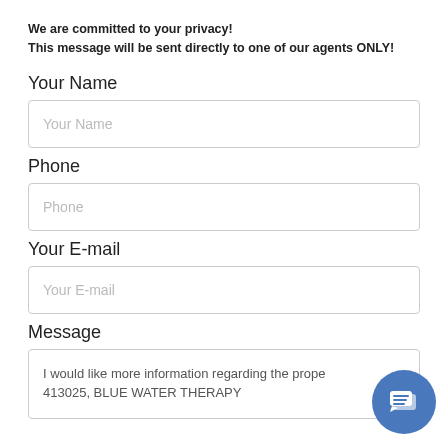We are committed to your privacy! This message will be sent directly to one of our agents ONLY!
Your Name
Your Name
Phone
Phone
Your E-mail
Your E-mail
Message
I would like more information regarding the prope 413025, BLUE WATER THERAPY